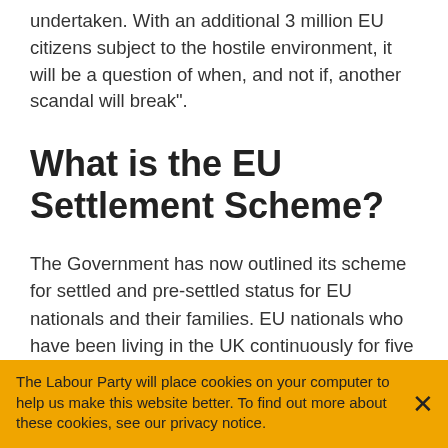undertaken. With an additional 3 million EU citizens subject to the hostile environment, it will be a question of when, and not if, another scandal will break".
What is the EU Settlement Scheme?
The Government has now outlined its scheme for settled and pre-settled status for EU nationals and their families. EU nationals who have been living in the UK continuously for five years will be able to apply for settled status to stay indefinitely. EU nationals who have not been in the UK for five years will be able to apply for pre-settled status, which will allow them to stay in the UK until they can apply for
The Labour Party will place cookies on your computer to help us make this website better. To find out more about these cookies, see our privacy notice.